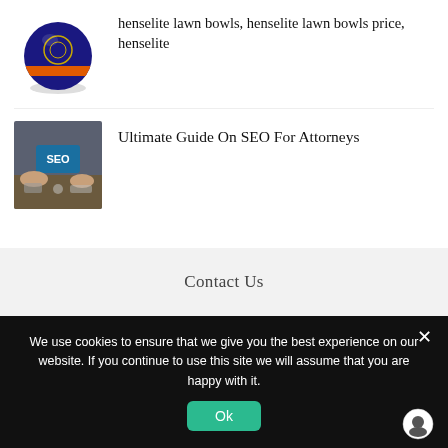[Figure (photo): Dark blue lawn bowl with orange rim and gold decorative pattern]
henselite lawn bowls, henselite lawn bowls price, henselite
[Figure (photo): Person holding a blue SEO sign at a desk with items scattered]
Ultimate Guide On SEO For Attorneys
Contact Us
We use cookies to ensure that we give you the best experience on our website. If you continue to use this site we will assume that you are happy with it.